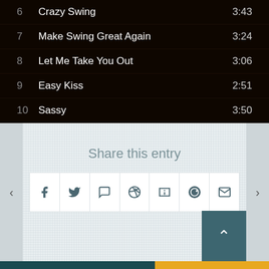| # | Title | Duration |
| --- | --- | --- |
| 6 | Crazy Swing | 3:43 |
| 7 | Make Swing Great Again | 3:24 |
| 8 | Let Me Take You Out | 3:06 |
| 9 | Easy Kiss | 2:51 |
| 10 | Sassy | 3:50 |
Share this entry
[Figure (other): Social share icons: Facebook, Twitter, WhatsApp, Pinterest, Tumblr, Reddit, Email]
Electro Swing Radio
OPEN RADIO